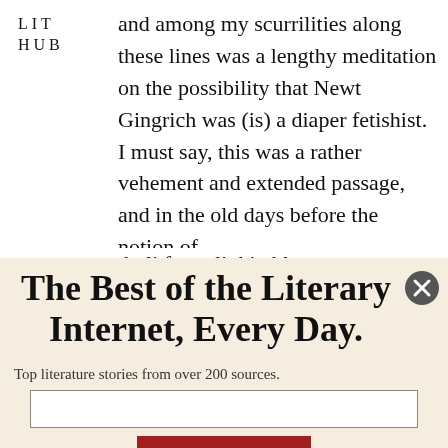LIT
HUB
and among my scurrilities along these lines was a lengthy meditation on the possibility that Newt Gingrich was (is) a diaper fetishist. I must say, this was a rather vehement and extended passage, and in the old days before the notion of the life...
The Best of the Literary Internet, Every Day.
Top literature stories from over 200 sources.
SUBSCRIBE